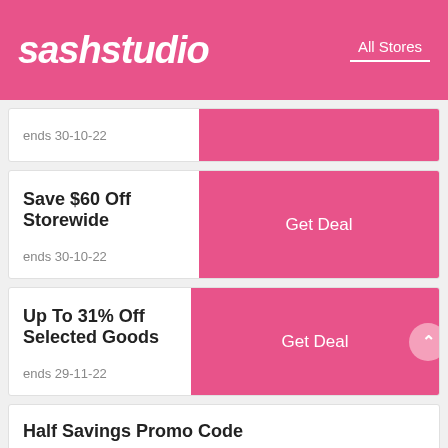sashstudio  All Stores
ends 30-10-22
Save $60 Off Storewide
ends 30-10-22
Up To 31% Off Selected Goods
ends 29-11-22
Half Savings Promo Code